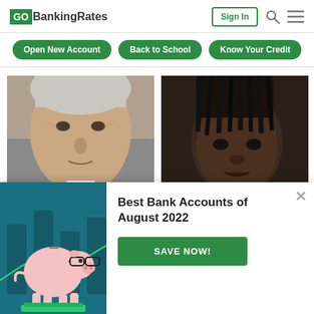GOBankingRates | Sign In
Open New Account
Back to School
Know Your Credit
[Figure (photo): Close-up photo of an older white-haired man in a suit (Joe Biden)]
This Is Joe Biden's Real
[Figure (photo): Close-up photo of a young Black man with dreadlocks (Chief Keef)]
Chief Keef Is Worth More Than
Best Bank Accounts of August 2022
SAVE NOW!